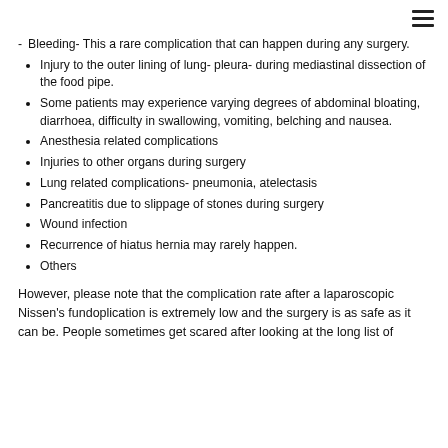Bleeding- This a rare complication that can happen during any surgery.
Injury to the outer lining of lung- pleura- during mediastinal dissection of the food pipe.
Some patients may experience varying degrees of abdominal bloating, diarrhoea, difficulty in swallowing, vomiting, belching and nausea.
Anesthesia related complications
Injuries to other organs during surgery
Lung related complications- pneumonia, atelectasis
Pancreatitis due to slippage of stones during surgery
Wound infection
Recurrence of hiatus hernia may rarely happen.
Others
However, please note that the complication rate after a laparoscopic Nissen’s fundoplication is extremely low and the surgery is as safe as it can be. People sometimes get scared after looking at the long list of